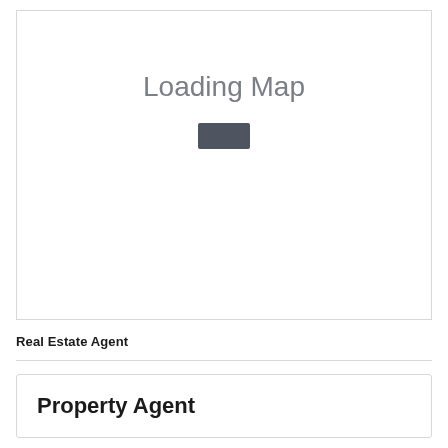[Figure (map): Map placeholder showing 'Loading Map' text with a loading indicator bar in the center of a bordered box]
Real Estate Agent
Property Agent